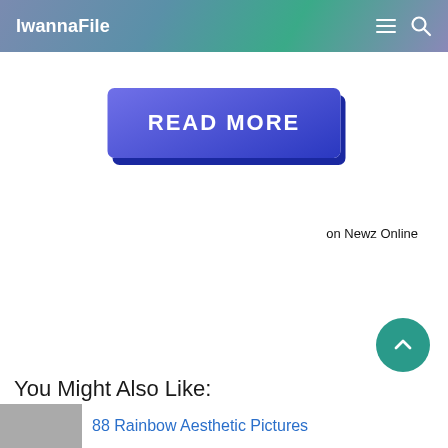IwannaFile
[Figure (other): READ MORE button with blue gradient background and shadow]
on Newz Online
[Figure (other): Back to top circular teal button with upward chevron arrow]
You Might Also Like:
88 Rainbow Aesthetic Pictures